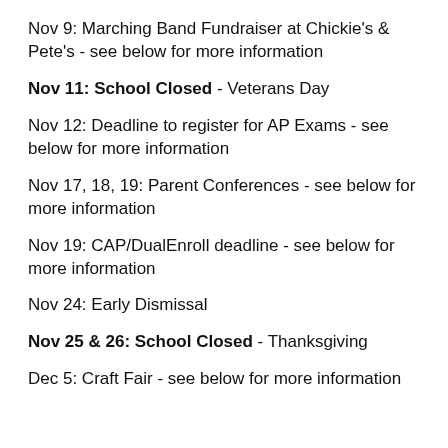Nov 9: Marching Band Fundraiser at Chickie's & Pete's - see below for more information
Nov 11: School Closed - Veterans Day
Nov 12: Deadline to register for AP Exams - see below for more information
Nov 17, 18, 19: Parent Conferences - see below for more information
Nov 19: CAP/DualEnroll deadline - see below for more information
Nov 24: Early Dismissal
Nov 25 & 26: School Closed - Thanksgiving
Dec 5: Craft Fair - see below for more information